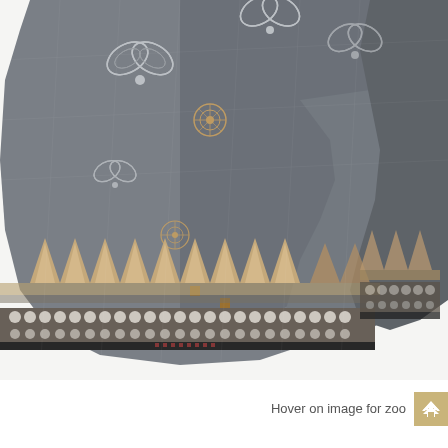[Figure (photo): A grey woven fabric (saree or textile) with intricate white floral and butterfly-like embroidery patterns on the body, and a decorative border with temple/spire motifs in beige/tan, gold square accents, and rows of circular dot patterns along the bottom hem. The fabric is folded and draped showing multiple layers.]
Hover on image for zoo